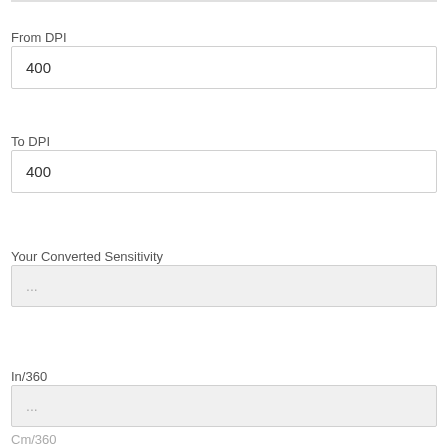From DPI
400
To DPI
400
Your Converted Sensitivity
...
In/360
...
Cm/360